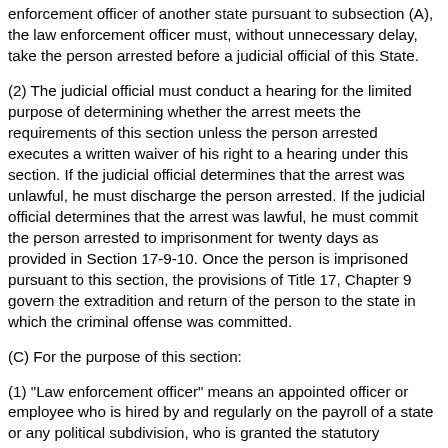enforcement officer of another state pursuant to subsection (A), the law enforcement officer must, without unnecessary delay, take the person arrested before a judicial official of this State.
(2) The judicial official must conduct a hearing for the limited purpose of determining whether the arrest meets the requirements of this section unless the person arrested executes a written waiver of his right to a hearing under this section. If the judicial official determines that the arrest was unlawful, he must discharge the person arrested. If the judicial official determines that the arrest was lawful, he must commit the person arrested to imprisonment for twenty days as provided in Section 17-9-10. Once the person is imprisoned pursuant to this section, the provisions of Title 17, Chapter 9 govern the extradition and return of the person to the state in which the criminal offense was committed.
(C) For the purpose of this section:
(1) "Law enforcement officer" means an appointed officer or employee who is hired by and regularly on the payroll of a state or any political subdivision, who is granted the statutory authority to enforce all or some of the criminal, traffic, or penal laws of their respective state, and who is granted or possesses with respect to those laws, the power to effect arrests for